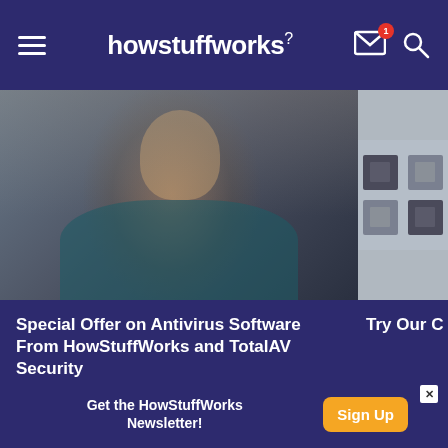howstuffworks
[Figure (photo): Woman in teal blazer looking up, working on laptop in an office/cafe setting]
Special Offer on Antivirus Software From HowStuffWorks and TotalAV Security
[Figure (photo): Partial card with checker pattern image, partially visible text 'Try Our C']
Advertisement
[Figure (other): Advertisement placeholder area (gray box)]
Get the HowStuffWorks Newsletter!
Sign Up